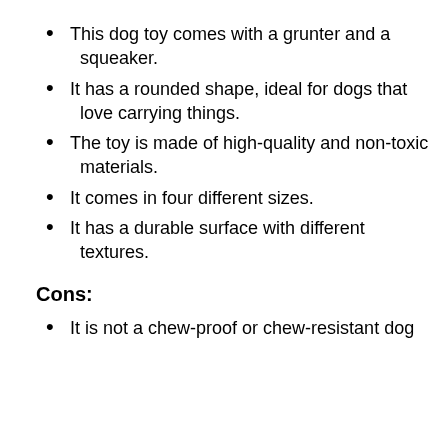This dog toy comes with a grunter and a squeaker.
It has a rounded shape, ideal for dogs that love carrying things.
The toy is made of high-quality and non-toxic materials.
It comes in four different sizes.
It has a durable surface with different textures.
Cons:
It is not a chew-proof or chew-resistant dog